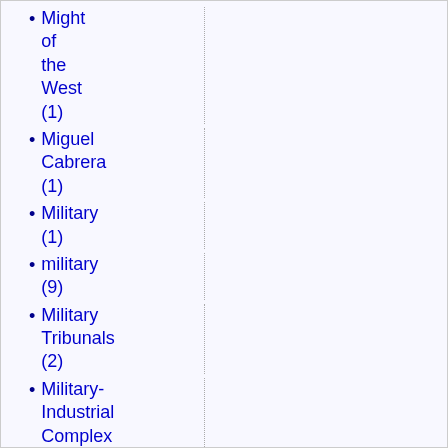Might of the West (1)
Miguel Cabrera (1)
Military (1)
military (9)
Military Tribunals (2)
Military-Industrial Complex (1)
Milton Friedman (1)
Minarets (1)
minimal (…)